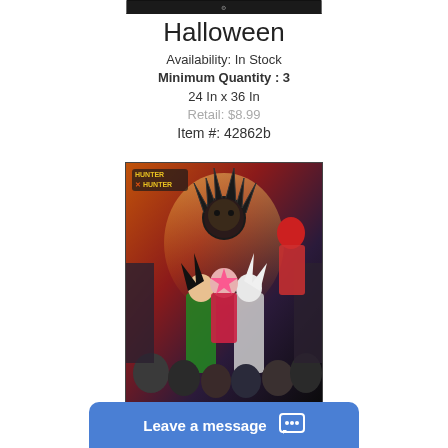[Figure (screenshot): Dark banner/header image at the top of a product page]
Halloween
Availability: In Stock
Minimum Quantity : 3
24 In x 36 In
Retail: $8.99
Item #: 42862b
[Figure (illustration): Hunter x Hunter anime poster featuring multiple characters including Gon, Killua, and other main characters with Hunter x Hunter logo in top left]
Leave a message